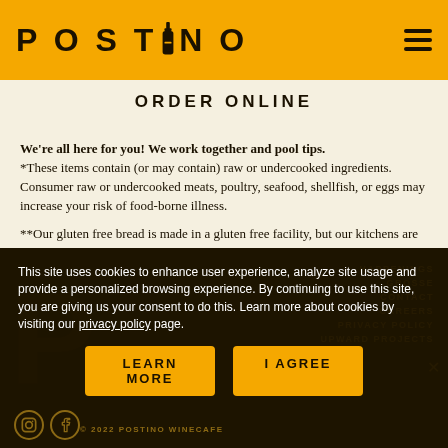POSTINO
ORDER ONLINE
We're all here for you! We work together and pool tips. *These items contain (or may contain) raw or undercooked ingredients. Consumer raw or undercooked meats, poultry, seafood, shellfish, or eggs may increase your risk of food-borne illness.

**Our gluten free bread is made in a gluten free facility, but our kitchens are not. Our kitchens are small. Please be aware that any of our products may contain allergens. Many ingredients are not listed. Please let us know if you have an allergy.
This site uses cookies to enhance user experience, analyze site usage and provide a personalized browsing experience. By continuing to use this site, you are giving us your consent to do this. Learn more about cookies by visiting our privacy policy page. © 2022 POSTINO WINECAFE | HAPPENINGS | GROSSE | CONTACT | CAREERS | PRIVACY POLICY | UPWARD PROJECTS | LEARN MORE | I AGREE